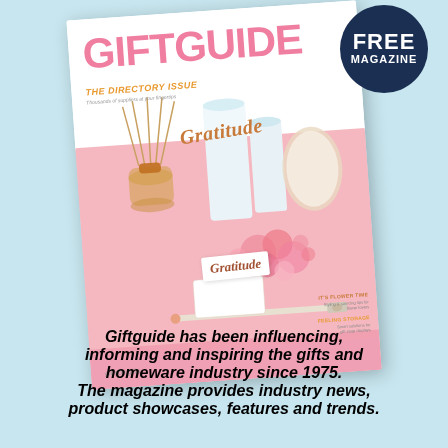[Figure (illustration): Magazine cover of 'Giftguide - The Directory Issue' showing pink and white layout with reed diffuser, candles labeled 'Gratitude', pink flowers, a pen, and small card. A dark navy circular badge in the top right reads 'FREE MAGAZINE'.]
Giftguide has been influencing, informing and inspiring the gifts and homeware industry since 1975. The magazine provides industry news, product showcases, features and trends.